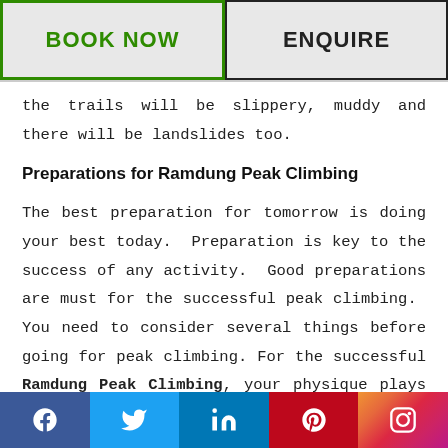BOOK NOW | ENQUIRE
the trails will be slippery, muddy and there will be landslides too.
Preparations for Ramdung Peak Climbing
The best preparation for tomorrow is doing your best today.  Preparation is key to the success of any activity.  Good preparations are must for the successful peak climbing.  You need to consider several things before going for peak climbing. For the successful Ramdung Peak Climbing, your physique plays a vital role.  So, you must prepare
Facebook | Twitter | LinkedIn | Pinterest | Instagram